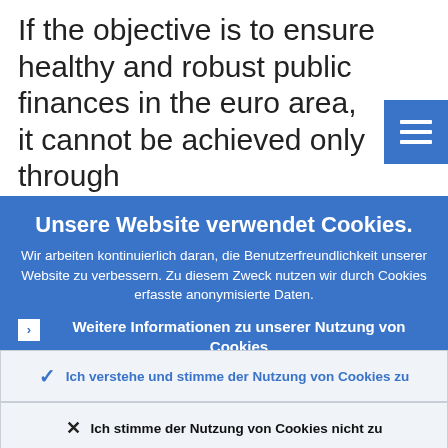If the objective is to ensure healthy and robust public finances in the euro area, it cannot be achieved only through
Unsere Website verwendet Cookies.
Wir arbeiten kontinuierlich daran, die Benutzerfreundlichkeit unserer Website zu verbessern. Zu diesem Zweck nutzen wir durch Cookies erfasste anonymisierte Daten.
Weitere Informationen zu unserer Nutzung von Cookies
Ich verstehe und stimme der Nutzung von Cookies zu
Ich stimme der Nutzung von Cookies nicht zu